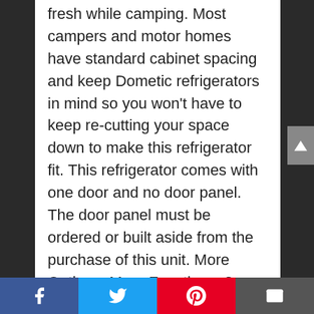fresh while camping. Most campers and motor homes have standard cabinet spacing and keep Dometic refrigerators in mind so you won't have to keep re-cutting your space down to make this refrigerator fit. This refrigerator comes with one door and no door panel. The door panel must be ordered or built aside from the purchase of this unit. More Options, More Functions. 3-way operation Top mounted controls Positive lock door handles Adjustable, removable door bins One-gallon container shelf storage 2-Way Option Available See model RM2451 Specifications Dimensions: 36-9/16 x 23-11/16 x 24 Weight: 78 lbs. Power: 3-way (LP/120V AC/12V DC) Color: Black f...
Facebook | Twitter | Pinterest | Email